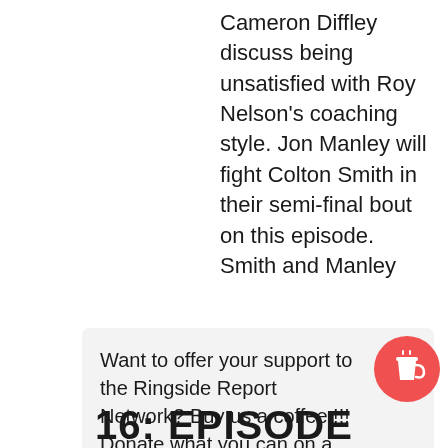Cameron Diffley discuss being unsatisfied with Roy Nelson's coaching style. Jon Manley will fight Colton Smith in their semi-final bout on this episode. Smith and Manley
Want to offer your support to the Ringside Report Network? Buy us a coffee !!! Donate what you can on a one-time or recurring basis. Become a valued member of the Ringside Report Universe with a recurring monthly donation. Everything helps us sustain and grow!!!
[Figure (illustration): Red circular button with a coffee cup icon]
16: EPISODE